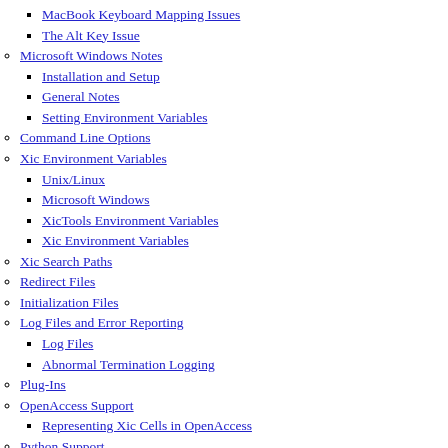MacBook Keyboard Mapping Issues
The Alt Key Issue
Microsoft Windows Notes
Installation and Setup
General Notes
Setting Environment Variables
Command Line Options
Xic Environment Variables
Unix/Linux
Microsoft Windows
XicTools Environment Variables
Xic Environment Variables
Xic Search Paths
Redirect Files
Initialization Files
Log Files and Error Reporting
Log Files
Abnormal Termination Logging
Plug-Ins
OpenAccess Support
Representing Xic Cells in OpenAccess
Python Support
Tcl/Tk Support
Graphical Interface, Commands and Operations